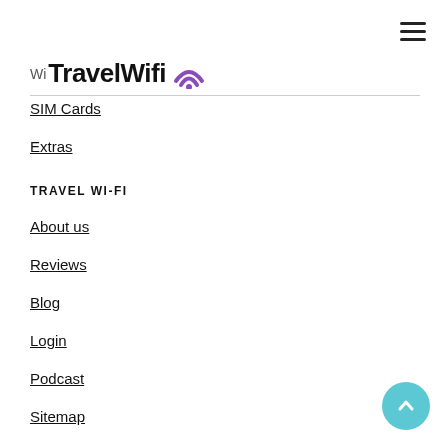[Figure (logo): TravelWifi logo with bold text and purple WiFi signal icon]
SIM Cards
Extras
TRAVEL WI-FI
About us
Reviews
Blog
Login
Podcast
Sitemap
HELP
FAQ